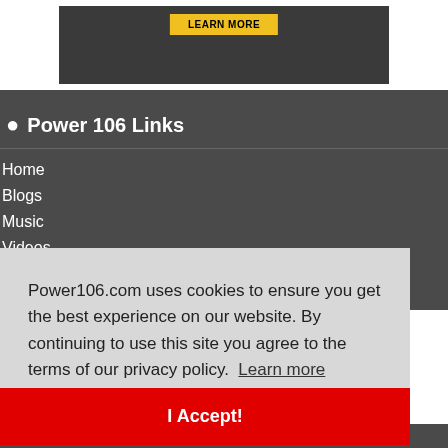[Figure (screenshot): Advertisement image with LEARN MORE button on dark running/athletic background]
● Power 106 Links
Home
Blogs
Music
Videos
Power106.com uses cookies to ensure you get the best experience on our website. By continuing to use this site you agree to the terms of our privacy policy. Learn more
I Accept!
Contact Us